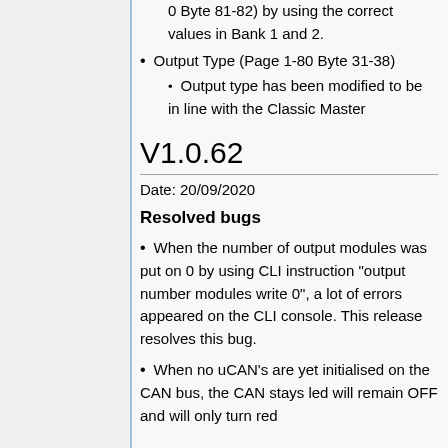0 Byte 81-82) by using the correct values in Bank 1 and 2.
Output Type (Page 1-80 Byte 31-38)
Output type has been modified to be in line with the Classic Master
V1.0.62
Date: 20/09/2020
Resolved bugs
When the number of output modules was put on 0 by using CLI instruction "output number modules write 0", a lot of errors appeared on the CLI console. This release resolves this bug.
When no uCAN's are yet initialised on the CAN bus, the CAN stays led will remain OFF and will only turn red